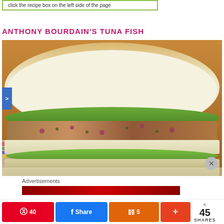[Figure (screenshot): Green-bordered recipe box with text: 'click the recipe box on the left side of the page']
ANTHONY BOURDAIN'S TUNA FISH
[Figure (photo): Close-up photo of a tuna fish sandwich cut in half showing layers of white bread, green lettuce, and tuna salad filling with red onion and herbs, on a colorful striped cloth. Wooden background.]
Advertisements
[Figure (screenshot): Red advertisement banner image strip]
40  Share  5  +  < 45 SHARES